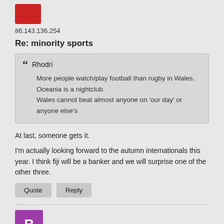[Figure (illustration): Red avatar square icon]
86.143.136.254
Re: minority sports
❝ Rhodri
More people watch/play football than rugby in Wales.
Oceania is a nightclub.
Wales cannot beat almost anyone on 'our day' or anyone else's
At last, someone gets it.
I'm actually looking forward to the autumn internationals this year. I think fiji will be a banker and we will surprise one of the other three.
Quote   Reply
[Figure (illustration): Purple avatar with letter R]
Rhodri